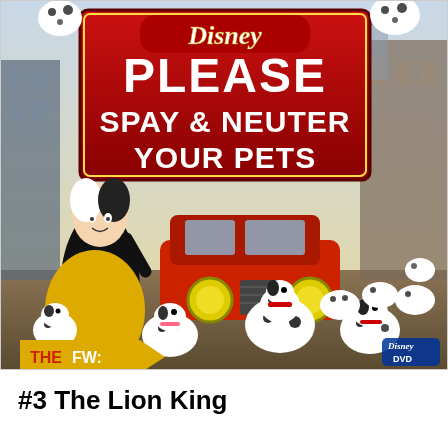[Figure (illustration): Disney 101 Dalmatians themed image with Cruella De Vil and dalmatian puppies, featuring a red sign reading 'Disney PLEASE SPAY & NEUTER YOUR PETS'. A yellow arrow with 'THE FW:' text appears in the bottom left, and Disney DVD logo in the bottom right.]
#3 The Lion King